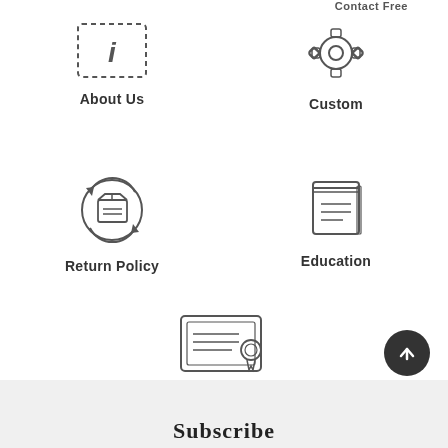[Figure (illustration): About Us icon - info card with dashed border]
About Us
[Figure (illustration): Custom icon - gear/settings wheel]
Custom
[Figure (illustration): Return Policy icon - box with circular arrows]
Return Policy
[Figure (illustration): Education icon - book/notebook]
Education
[Figure (illustration): Warranty icon - certificate with seal]
Warranty
[Figure (illustration): Back to top button - dark circle with upward arrow]
Subscribe